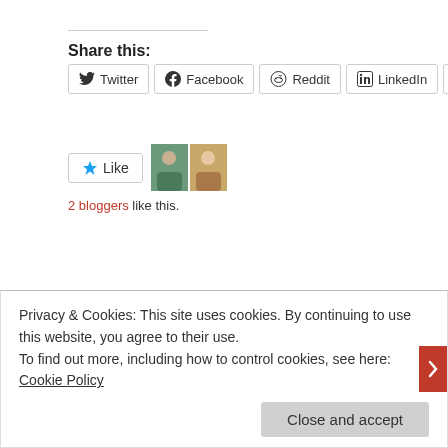Share this:
[Figure (screenshot): Row of social share buttons: Twitter, Facebook, Reddit, LinkedIn, Email (partial)]
[Figure (screenshot): Like button with blue star, two blogger avatar images]
2 bloggers like this.
[Figure (illustration): Decorative swirl/chain link divider graphic]
Print Release Blitz & Giveaway | Upside Do
Blog Tours, Giveaways, Interview   May 15, 2015   Leave a commen
Privacy & Cookies: This site uses cookies. By continuing to use this website, you agree to their use.
To find out more, including how to control cookies, see here: Cookie Policy
Close and accept